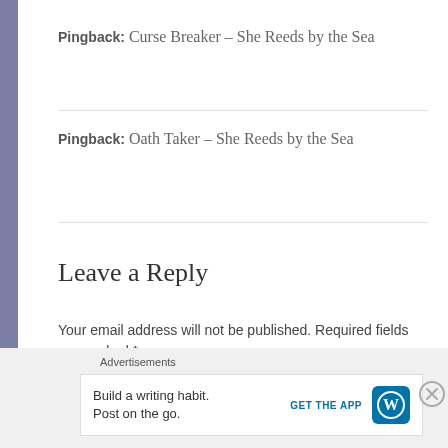Pingback: Curse Breaker – She Reeds by the Sea
Pingback: Oath Taker – She Reeds by the Sea
Leave a Reply
Your email address will not be published. Required fields are marked *
COMMENT *
Advertisements
Build a writing habit. Post on the go.
GET THE APP